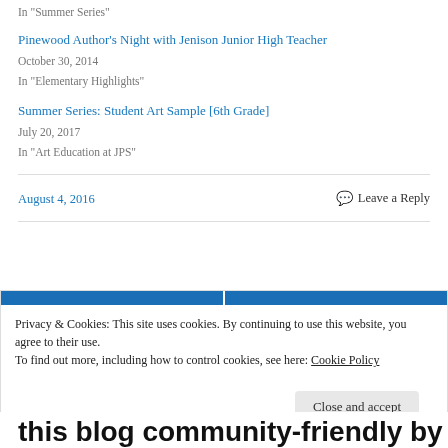In "Summer Series"
Pinewood Author's Night with Jenison Junior High Teacher
October 30, 2014
In "Elementary Highlights"
Summer Series: Student Art Sample [6th Grade]
July 20, 2017
In "Art Education at JPS"
August 4, 2016
Leave a Reply
Privacy & Cookies: This site uses cookies. By continuing to use this website, you agree to their use.
To find out more, including how to control cookies, see here: Cookie Policy
Close and accept
this blog community-friendly by